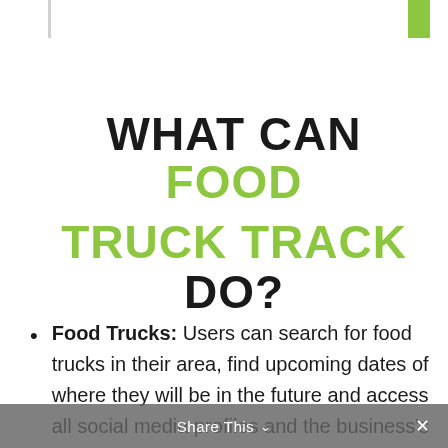WHAT CAN FOOD TRUCK TRACK DO?
Food Trucks: Users can search for food trucks in their area, find upcoming dates of where they will be in the future and access all social media profiles and the business's
Share This